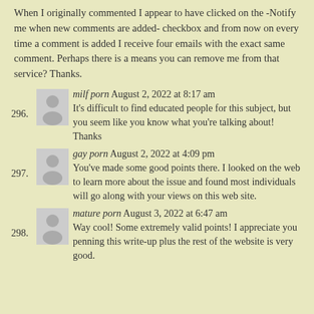When I originally commented I appear to have clicked on the -Notify me when new comments are added- checkbox and from now on every time a comment is added I receive four emails with the exact same comment. Perhaps there is a means you can remove me from that service? Thanks.
296. milf porn August 2, 2022 at 8:17 am — It's difficult to find educated people for this subject, but you seem like you know what you're talking about! Thanks
297. gay porn August 2, 2022 at 4:09 pm — You've made some good points there. I looked on the web to learn more about the issue and found most individuals will go along with your views on this web site.
298. mature porn August 3, 2022 at 6:47 am — Way cool! Some extremely valid points! I appreciate you penning this write-up plus the rest of the website is very good.